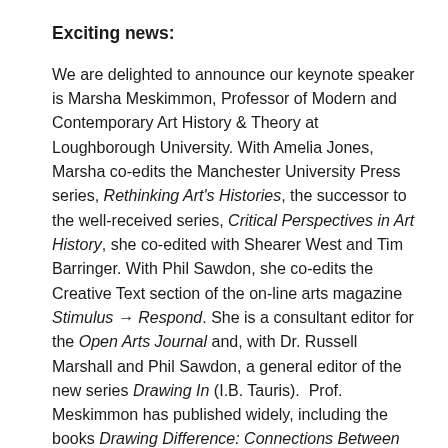Exciting news:
We are delighted to announce our keynote speaker is Marsha Meskimmon, Professor of Modern and Contemporary Art History & Theory at Loughborough University. With Amelia Jones, Marsha co-edits the Manchester University Press series, Rethinking Art's Histories, the successor to the well-received series, Critical Perspectives in Art History, she co-edited with Shearer West and Tim Barringer. With Phil Sawdon, she co-edits the Creative Text section of the on-line arts magazine Stimulus → Respond. She is a consultant editor for the Open Arts Journal and, with Dr. Russell Marshall and Phil Sawdon, a general editor of the new series Drawing In (I.B. Tauris).  Prof. Meskimmon has published widely, including the books Drawing Difference: Connections Between Gender and Drawing (Meskimmon & Sawdon 2016), Performance Art in Eastern Europe Since 1960